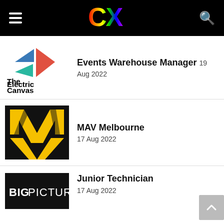CX
[Figure (logo): The Electric Canvas company logo with geometric arrow shapes in blue, teal, and red/orange]
Events Warehouse Manager  19 Aug 2022
[Figure (logo): MAV Melbourne logo: yellow MAV letters on black background]
MAV Melbourne  17 Aug 2022
[Figure (logo): Big Picture logo: BIG PICTURE white text on black background]
Junior Technician  17 Aug 2022